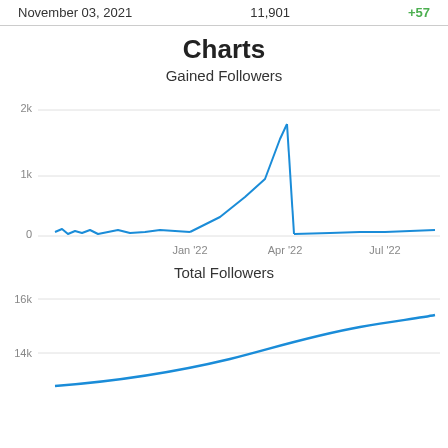November 03, 2021    11,901    +57
Charts
Gained Followers
[Figure (line-chart): Gained Followers]
Total Followers
[Figure (line-chart): Total Followers]